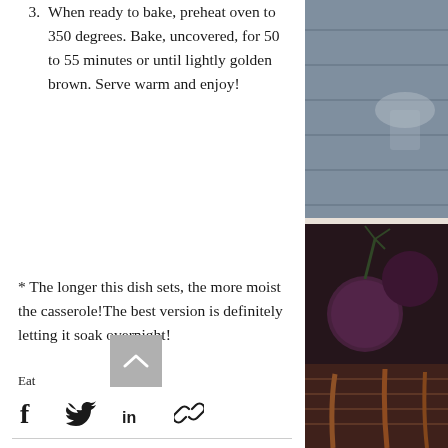3. When ready to bake, preheat oven to 350 degrees. Bake, uncovered, for 50 to 55 minutes or until lightly golden brown. Serve warm and enjoy!
* The longer this dish sets, the more moist the casserole!The best version is definitely letting it soak overnight!
Eat
[Figure (other): Social share icons: Facebook, Twitter, LinkedIn, link/copy icon]
[Figure (photo): Photo on right side top: wooden background with kitchen items]
[Figure (photo): Photo on right side bottom: purple beets/root vegetables in a basket]